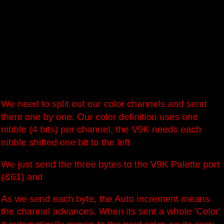We need to split out our color channels and send them one by one. Our color definition uses one nibble (4 bits) per channel, the V9K needs each nibble shifted one bit to the left
We just send the three bytes to the V9K Palette port (&61) and
As we send each byte, the Auto increment means the channel advances. When its sent a whole 'Color' it automatically moves to the next color, so its easy, fire and go!